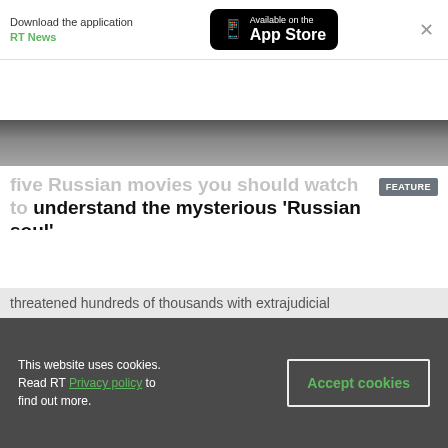[Figure (screenshot): App Store download banner for RT News application]
[Figure (photo): Partial dark photo strip, appears to be a background image]
RT – navigation bar with RT logo, LIVE button, search and menu icons
five Russian movies you should watch to understand the mysterious 'Russian soul'
This website uses cookies. Read RT Privacy policy to find out more.
Accept cookies
threatened hundreds of thousands with extrajudicial...